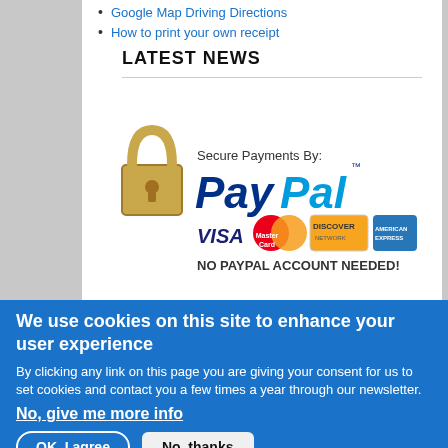Google Map Driving Directions
How to print your own receipt
LATEST NEWS
[Figure (logo): Secure Payments By PayPal badge with lock icon, VISA, MasterCard, Discover, American Express logos and text NO PAYPAL ACCOUNT NEEDED!]
We use cookies on this site to enhance your user experience
By clicking any link on this page you are giving your consent for us to set cookies and contact you a few times a year through our newsletter.
No, give me more info
OK, I agree
No, thanks